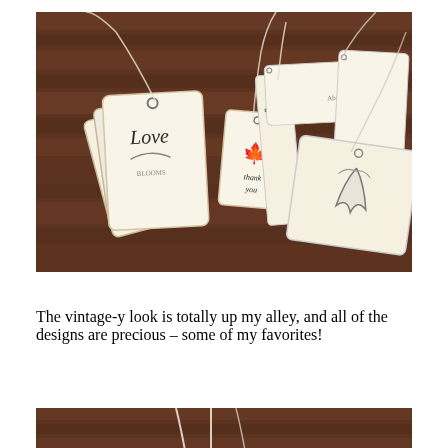[Figure (photo): Vintage-style gift tags with decorative stamped designs displayed on a dark wood surface. Tags show various designs including 'Love', 'thank you', a leaf, peacock feather, and other vintage illustrations, connected by twine strings.]
The vintage-y look is totally up my alley, and all of the designs are precious – some of my favorites!
[Figure (photo): Partial photo showing the bottom portion of vintage gift tags with twine/string on a dark wood surface.]